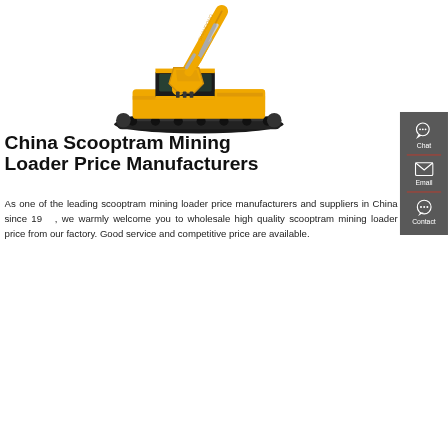[Figure (photo): Yellow construction excavator/scooptram mining loader on white background, shown from the side with boom arm raised]
China Scooptram Mining Loader Price Manufacturers
As one of the leading scooptram mining loader price manufacturers and suppliers in China since 19XX, we warmly welcome you to wholesale high quality scooptram mining loader price from our factory. Good service and competitive price are available.